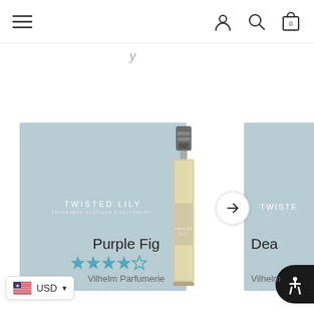Navigation bar with hamburger menu, user icon, search icon, cart icon (0)
[Figure (photo): Twisted Lily branded perfume sample vial next to a light blue-grey branded card background, partially showing a second product card on the right]
Purple Fig
[Figure (other): 4 out of 5 stars rating shown in teal/blue color]
Vilhelm Parfumerie
USD currency selector with US flag
Dea... (partially visible product name)
Vilhelm (partially visible brand name)